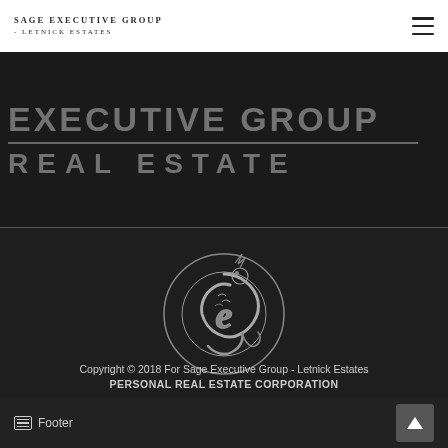Sage Executive Group - Letnick Estates
[Figure (logo): Sage Executive Group Real Estate large text banner on dark background, showing partial 'EXECUTIVE GROUP' text above a horizontal divider line and 'REAL ESTATE' text below]
[Figure (logo): Sage Executive Group - Letnick Estates circular metallic dragon logo emblem on dark background]
Copyright © 2018 For Sage Executive Group - Letnick Estates
PERSONAL REAL ESTATE CORPORATION
Footer